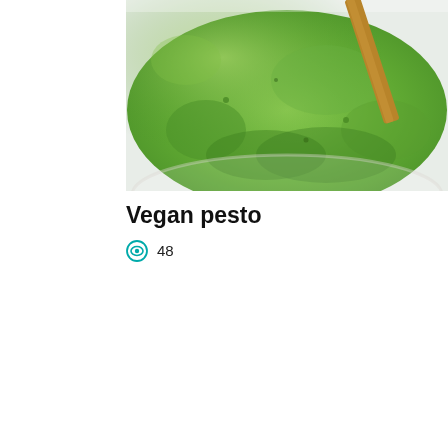[Figure (photo): Close-up photo of vegan pesto sauce in a white bowl with a wooden spoon, showing bright green textured pesto]
Vegan pesto
48
[Figure (photo): Colorful salad with watermelon chunks, cherry tomatoes (red and yellow), feta cheese crumbles, and fresh herbs on a white plate with a spoon]
[Figure (infographic): Advertisement banner for Wegmans restaurant showing logo, checkmarks for Dine-in and Curbside pickup options, and a navigation arrow icon]